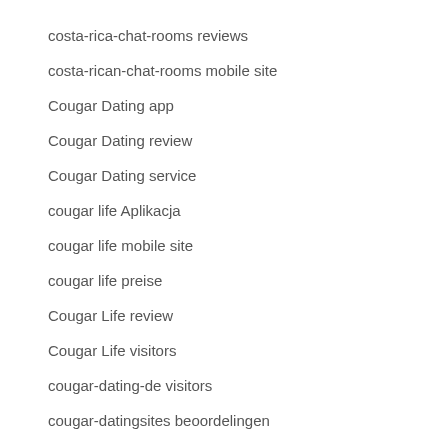costa-rica-chat-rooms reviews
costa-rican-chat-rooms mobile site
Cougar Dating app
Cougar Dating review
Cougar Dating service
cougar life Aplikacja
cougar life mobile site
cougar life preise
Cougar Life review
Cougar Life visitors
cougar-dating-de visitors
cougar-datingsites beoordelingen
cougar-datingsites Dating
cougar-life-inceleme mobil site